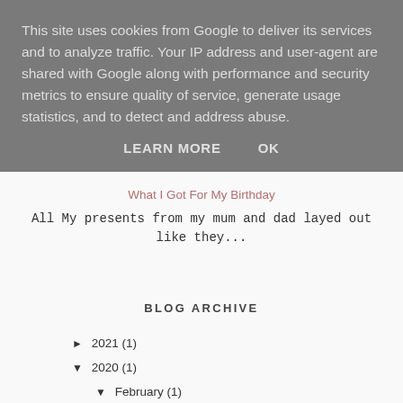This site uses cookies from Google to deliver its services and to analyze traffic. Your IP address and user-agent are shared with Google along with performance and security metrics to ensure quality of service, generate usage statistics, and to detect and address abuse.
LEARN MORE    OK
What I Got For My Birthday
All My presents from my mum and dad layed out like they...
BLOG ARCHIVE
► 2021 (1)
▼ 2020 (1)
▼ February (1)